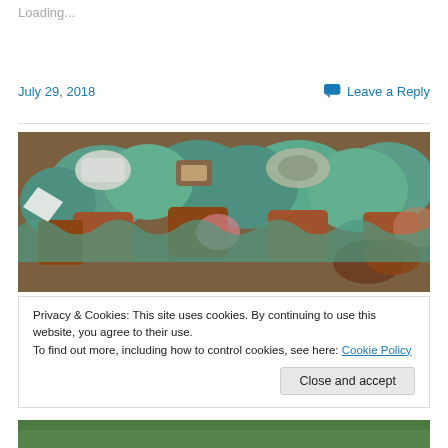Loading...
July 29, 2018
Leave a Reply
[Figure (photo): Close-up photo of decorated cupcakes with green fondant frosting and various topper decorations including what appear to be small fondant medical/work-themed items]
Privacy & Cookies: This site uses cookies. By continuing to use this website, you agree to their use.
To find out more, including how to control cookies, see here: Cookie Policy
Close and accept
[Figure (photo): Bottom edge of another photo, partially visible — appears to show green outdoor/nature scene]